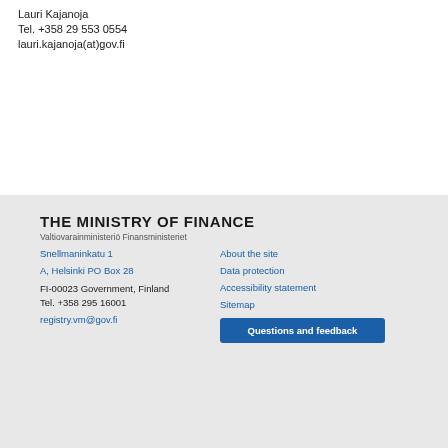Lauri Kajanoja
Tel. +358 29 553 0554
lauri.kajanoja(at)gov.fi
THE MINISTRY OF FINANCE
Valtiovarainministeriö Finansministeriet
Snellmaninkatu 1
A, Helsinki PO Box 28
FI-00023 Government, Finland
Tel. +358 295 16001
registry.vm@gov.fi
About the site
Data protection
Accessibility statement
Sitemap
Questions and feedback